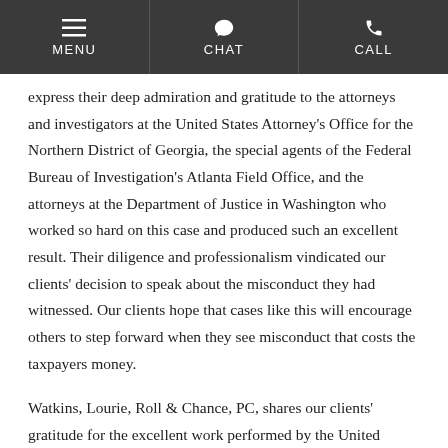MENU | CHAT | CALL
express their deep admiration and gratitude to the attorneys and investigators at the United States Attorney's Office for the Northern District of Georgia, the special agents of the Federal Bureau of Investigation's Atlanta Field Office, and the attorneys at the Department of Justice in Washington who worked so hard on this case and produced such an excellent result. Their diligence and professionalism vindicated our clients' decision to speak about the misconduct they had witnessed. Our clients hope that cases like this will encourage others to step forward when they see misconduct that costs the taxpayers money.
Watkins, Lourie, Roll & Chance, PC, shares our clients' gratitude for the excellent work performed by the United States attorneys and special agents. We are humbled by